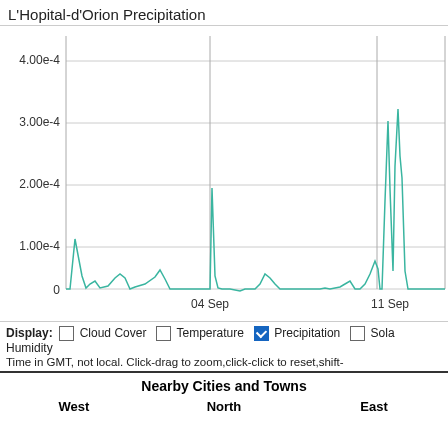L'Hopital-d'Orion Precipitation
[Figure (continuous-plot): Line chart of L'Hopital-d'Orion Precipitation over time (late Aug to ~13 Sep). Y-axis: 0 to 4.00e-4 with gridlines at 1.00e-4, 2.00e-4, 3.00e-4, 4.00e-4. X-axis labels: 04 Sep, 11 Sep. Teal/cyan line showing precipitation spikes: ~2.1e-4 near start, smaller bumps around 31 Aug and 2 Sep, spike ~2.1e-4 around 04 Sep, small bumps around 07 Sep, small bump ~0.5e-4 around 09-10 Sep, larger spikes ~3.5e-4 and ~1.8e-4 around 11 Sep, spike ~1.0e-4 slightly before 11 Sep.]
Display: Cloud Cover  Temperature  Precipitation  Sola Humidity
Time in GMT, not local. Click-drag to zoom,click-click to reset,shift-
| West | North | East |
| --- | --- | --- |